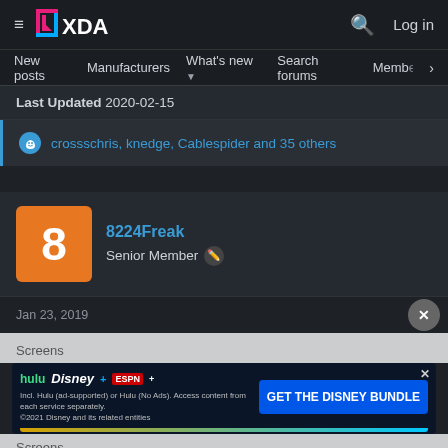XDA Developers — Log in
New posts  Manufacturers  What's new  Search forums  Members  >
Last Updated 2020-02-15
crossschris, knedge, Cablespider and 35 others
8224Freak
Senior Member
Jan 23, 2019
Screens
[Figure (screenshot): Disney Bundle advertisement banner showing Hulu, Disney+, ESPN+ logos and GET THE DISNEY BUNDLE call to action]
Screens